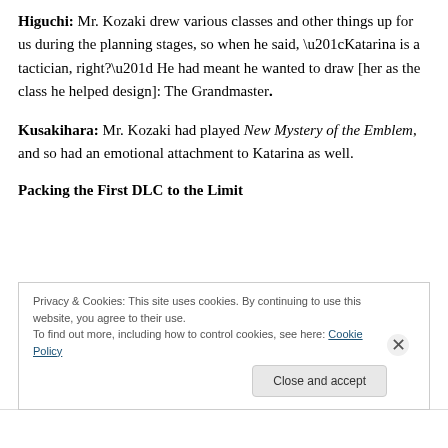Higuchi: Mr. Kozaki drew various classes and other things up for us during the planning stages, so when he said, “Katarina is a tactician, right?” He had meant he wanted to draw [her as the class he helped design]: The Grandmaster.
Kusakihara: Mr. Kozaki had played New Mystery of the Emblem, and so had an emotional attachment to Katarina as well.
Packing the First DLC to the Limit
Privacy & Cookies: This site uses cookies. By continuing to use this website, you agree to their use.
To find out more, including how to control cookies, see here: Cookie Policy